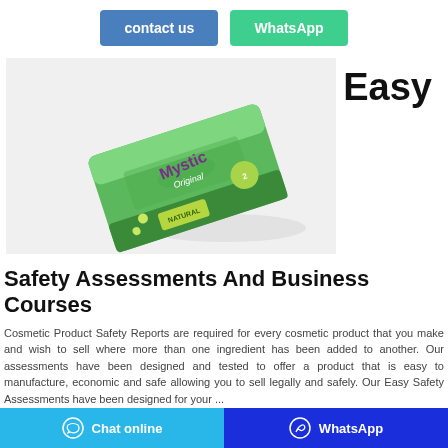contact us   WhatsApp
[Figure (photo): Green packaged soap bar product labeled 'Mystic Original' on a white background with 'Easy' text to the right]
Safety Assessments And Business Courses
Cosmetic Product Safety Reports are required for every cosmetic product that you make and wish to sell where more than one ingredient has been added to another. Our assessments have been designed and tested to offer a product that is easy to manufacture, economic and safe allowing you to sell legally and safely. Our Easy Safety Assessments have been designed for your ...
Chat online   WhatsApp